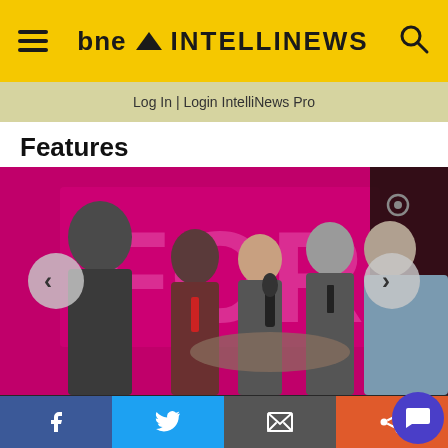bne INTELLINEWS
Log In | Login IntelliNews Pro
Features
[Figure (photo): Five people on stage with a pink/magenta backdrop joining hands together, appear to be at a political or public event. Navigation arrows visible on left and right sides.]
We use cookies to ensure that we give you the best experience on our website. If you continue we'll assume that you are happy to receive all cookies from this website. Accept  View Cookie
Facebook | Twitter | Email | Share